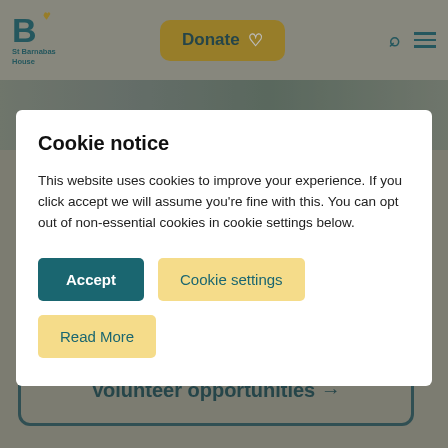St Barnabas House — Donate — Search — Menu
[Figure (screenshot): Website screenshot showing St Barnabas House charity page with header, donate button, search icon, menu icon, and hero image strip of volunteers]
Cookie notice
This website uses cookies to improve your experience. If you click accept we will assume you're fine with this. You can opt out of non-essential cookies in cookie settings below.
Accept
Cookie settings
Read More
Volunteer opportunities →